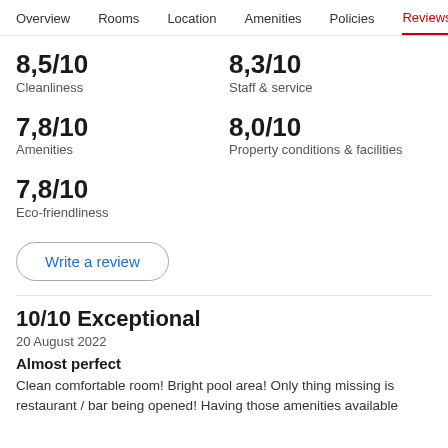Overview  Rooms  Location  Amenities  Policies  Reviews
8,5/10
Cleanliness
8,3/10
Staff & service
7,8/10
Amenities
8,0/10
Property conditions & facilities
7,8/10
Eco-friendliness
Write a review
10/10 Exceptional
20 August 2022
Almost perfect
Clean comfortable room! Bright pool area! Only thing missing is restaurant / bar being opened! Having those amenities available